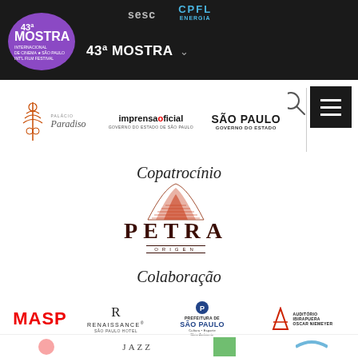[Figure (logo): 43ª Mostra Internacional de Cinema São Paulo Int'l Film Festival purple blob logo in dark header]
[Figure (logo): SESC logo in dark header]
[Figure (logo): CPFL Energia logo in dark header]
43ª MOSTRA ˅
[Figure (logo): Palácio Paradiso logo with ornate red icon]
[Figure (logo): Imprensa Oficial Governo do Estado de São Paulo logo]
[Figure (logo): São Paulo Governo do Estado logo]
Copatrocínio
[Figure (logo): PETRA ORIGEN logo with mountain illustration]
Colaboração
[Figure (logo): MASP logo in red]
[Figure (logo): Renaissance São Paulo Hotel logo]
[Figure (logo): Prefeitura de São Paulo Cultura Esporte Meio Ambiente logo]
[Figure (logo): Auditório Ibirapuera Oscar Niemeyer logo]
[Figure (logo): Partial logos at bottom including JAZZ text]